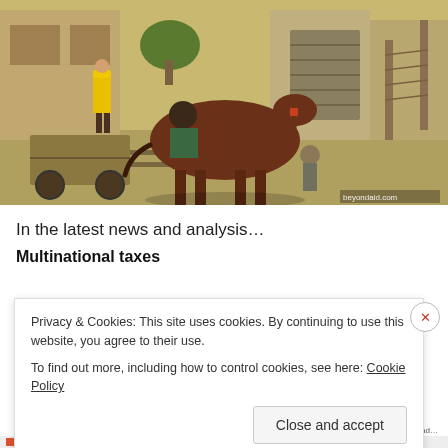[Figure (photo): A brown horse harnessed to a wooden cart on a city street. A person in a yellow jacket stands nearby. A child stands close to the horse. Metal shuttered shops in background. Watermark reads beyondaid.com.]
In the latest news and analysis…
Multinational taxes
Privacy & Cookies: This site uses cookies. By continuing to use this website, you agree to their use.
To find out more, including how to control cookies, see here: Cookie Policy